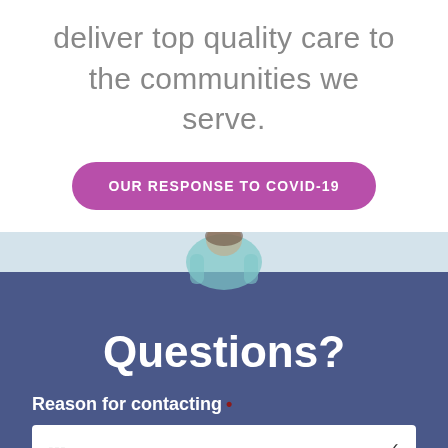deliver top quality care to the communities we serve.
OUR RESPONSE TO COVID-19
[Figure (photo): Healthcare worker/nurse in teal scrubs, partial view from shoulders up, light background]
Questions?
Reason for contacting *
---